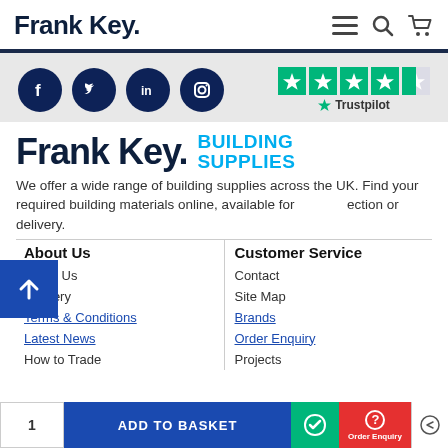Frank Key.
[Figure (logo): Frank Key logo with hamburger menu, search, and cart icons]
[Figure (infographic): Social media icons (Facebook, Twitter, LinkedIn, Instagram) and Trustpilot 4-star rating]
Frank Key. BUILDING SUPPLIES
We offer a wide range of building supplies across the UK. Find your required building materials online, available for collection or delivery.
About Us
Customer Service
About Us
Delivery
Terms & Conditions
Latest News
How to Trade
Contact
Site Map
Brands
Order Enquiry
Projects